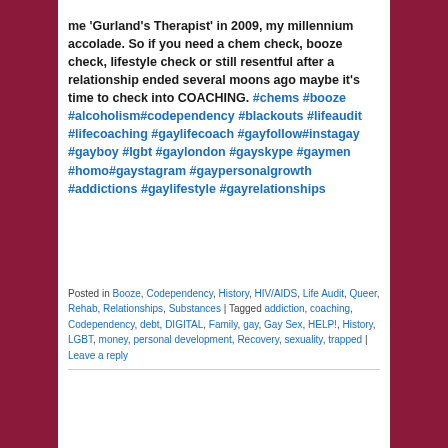me 'Gurland's Therapist' in 2009, my millennium accolade. So if you need a chem check, booze check, lifestyle check or still resentful after a relationship ended several moons ago maybe it's time to check into COACHING. #chems #booze #alcoholism#codependency #blackouts #lifeaudit #lifecoaching #gaylifecoach #gayfollow#instagay #gayboy #lgbt #gaylondon #gayskype #gaymen #homo#gaystagram #gaypersonalgrowth #addictions #gaylifestyle #gayrelationships
Posted in Booze, Codependency, History, HIV/AIDS, Life Audit, Queer, Rehab, Relationships, Substances | Tagged addiction, coaching, Codependency, debt, DIGITAL, Family, gay, Gay Sex, HELP!, History, LGBT, money, personal development, Recovery, sexuality, trapped | Leave a reply